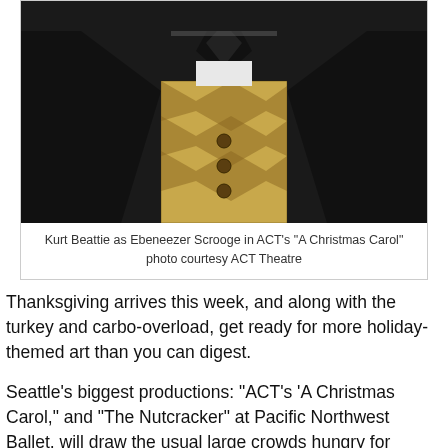[Figure (photo): Kurt Beattie dressed as Ebeneezer Scrooge in Victorian costume — black coat, patterned waistcoat, black cravat — from ACT Theatre's 'A Christmas Carol'. Photo is a close-up portrait showing chest and head area partially cut off at top.]
Kurt Beattie as Ebeneezer Scrooge in ACT's "A Christmas Carol"
photo courtesy ACT Theatre
Thanksgiving arrives this week, and along with the turkey and carbo-overload, get ready for more holiday-themed art than you can digest.
Seattle's biggest productions: "ACT's 'A Christmas Carol," and "The Nutcracker" at Pacific Northwest Ballet, will draw the usual large crowds hungry for tradition and a little holiday cheer. No matter how many times I see Charles Dickens' tale about the spiritual conversion of Ebeneezer Scrooge, I always leave the theater full of hope that virtue trumps petty greed and hate every time. I'm in need of that reminder this